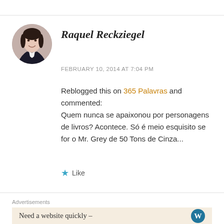[Figure (photo): Circular avatar photo of a young woman with dark hair, smiling, wearing a dark jacket]
Raquel Reckziegel
FEBRUARY 10, 2014 AT 7:04 PM
Reblogged this on 365 Palavras and commented:
Quem nunca se apaixonou por personagens de livros? Acontece. Só é meio esquisito se for o Mr. Grey de 50 Tons de Cinza...
Like
Advertisements
Need a website quickly –